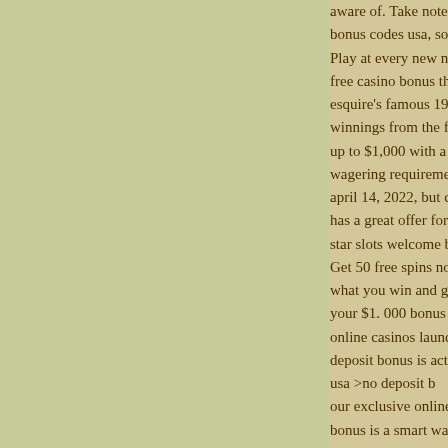aware of. Take note of bonus codes usa, so Play at every new no free casino bonus the esquire's famous 194 winnings from the fre up to $1,000 with a 3 wagering requiremen april 14, 2022, but ca has a great offer for f star slots welcome b Get 50 free spins no what you win and ga your $1. 000 bonus o online casinos launc deposit bonus is acti usa &gt;no deposit b our exclusive online s bonus is a smart way Bei der Auswahl eine Anbieter verfugt uber werden transparent a